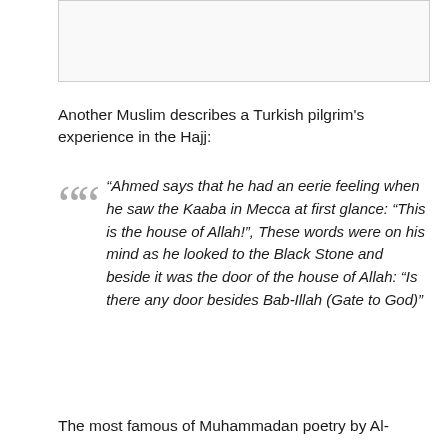[Figure (other): Image placeholder box at the top of the page]
Another Muslim describes a Turkish pilgrim's experience in the Hajj:
“Ahmed says that he had an eerie feeling when he saw the Kaaba in Mecca at first glance: “This is the house of Allah!”, These words were on his mind as he looked to the Black Stone and beside it was the door of the house of Allah: “Is there any door besides Bab-Illah (Gate to God)”
The most famous of Muhammadan poetry by Al-